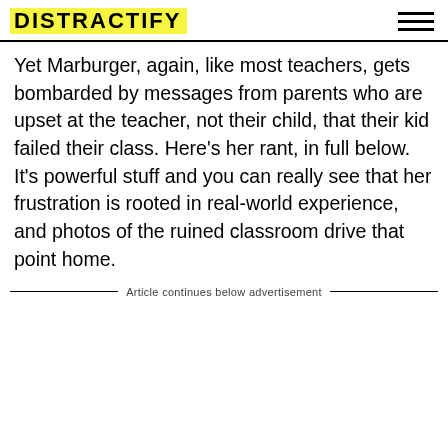DISTRACTIFY
Yet Marburger, again, like most teachers, gets bombarded by messages from parents who are upset at the teacher, not their child, that their kid failed their class. Here's her rant, in full below. It's powerful stuff and you can really see that her frustration is rooted in real-world experience, and photos of the ruined classroom drive that point home.
Article continues below advertisement